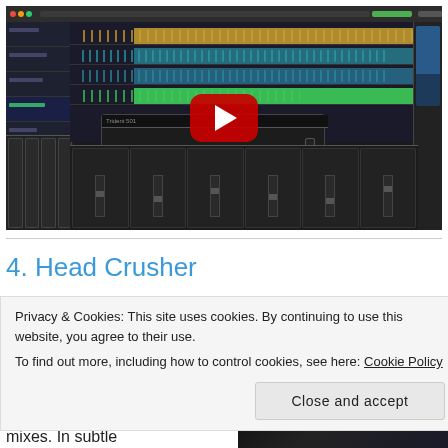[Figure (screenshot): DAW (Logic Pro / similar) interface showing audio tracks with waveforms and an audio plugin panel (Trident 501 style hardware emulation), with a YouTube play button overlay in the center.]
4. Head Crusher
Privacy & Cookies: This site uses cookies. By continuing to use this website, you agree to their use.
To find out more, including how to control cookies, see here: Cookie Policy
Close and accept
mixes. In subtle